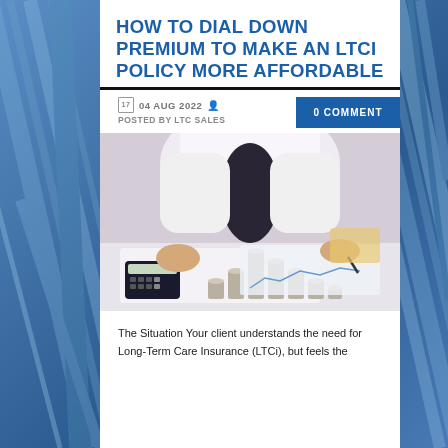HOW TO DIAL DOWN PREMIUM TO MAKE AN LTCI POLICY MORE AFFORDABLE
04 AUG 2022  POSTED BY LTC SALES
0 COMMENT
[Figure (photo): Person in white shirt sitting at desk with coins stacked in ascending then descending order, using a calculator and writing on paper — financial planning concept]
The Situation Your client understands the need for Long-Term Care Insurance (LTCi), but feels the